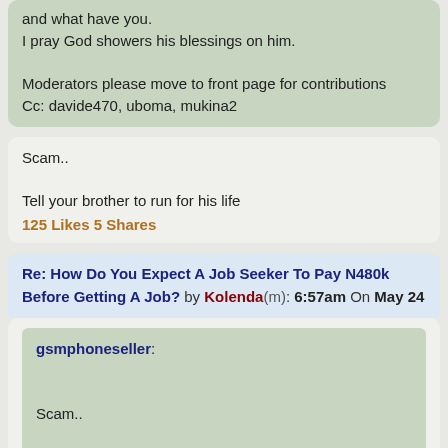and what have you.
I pray God showers his blessings on him.

Moderators please move to front page for contributions
Cc: davide470, uboma, mukina2
Scam..

Tell your brother to run for his life
125 Likes 5 Shares
Re: How Do You Expect A Job Seeker To Pay N480k Before Getting A Job? by Kolenda(m): 6:57am On May 24
gsmphoneseller:

Scam..

Tell your brother to run for his life